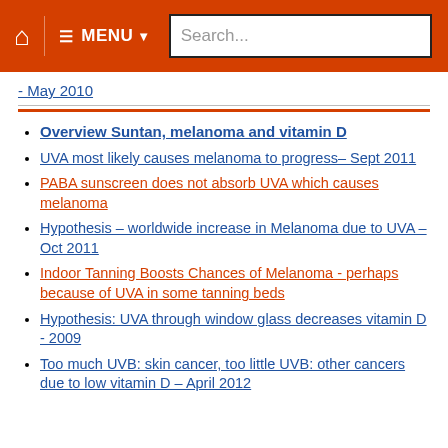MENU | Search...
- May 2010
Overview Suntan, melanoma and vitamin D
UVA most likely causes melanoma to progress– Sept 2011
PABA sunscreen does not absorb UVA which causes melanoma
Hypothesis – worldwide increase in Melanoma due to UVA – Oct 2011
Indoor Tanning Boosts Chances of Melanoma - perhaps because of UVA in some tanning beds
Hypothesis: UVA through window glass decreases vitamin D - 2009
Too much UVB: skin cancer, too little UVB: other cancers due to low vitamin D – April 2012